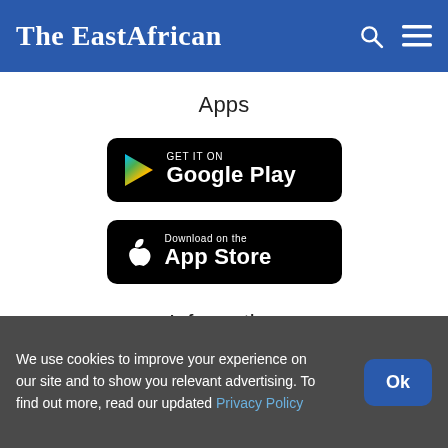The EastAfrican
Apps
[Figure (logo): Google Play store badge: GET IT ON Google Play]
[Figure (logo): Apple App Store badge: Download on the App Store]
Information
We use cookies to improve your experience on our site and to show you relevant advertising. To find out more, read our updated Privacy Policy